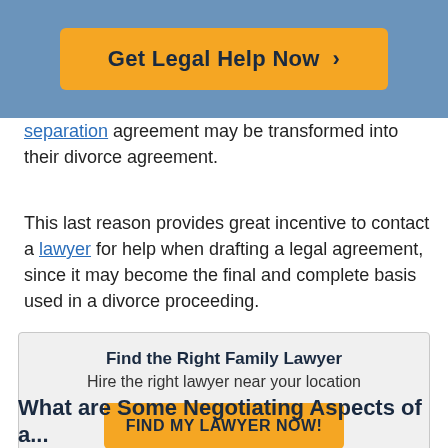[Figure (other): Blue header banner with orange 'Get Legal Help Now >' button]
separation agreement may be transformed into their divorce agreement.
This last reason provides great incentive to contact a lawyer for help when drafting a legal agreement, since it may become the final and complete basis used in a divorce proceeding.
[Figure (infographic): Grey callout box: 'Find the Right Family Lawyer — Hire the right lawyer near your location' with orange 'FIND MY LAWYER NOW!' button]
What are Some Negotiating Aspects of a...